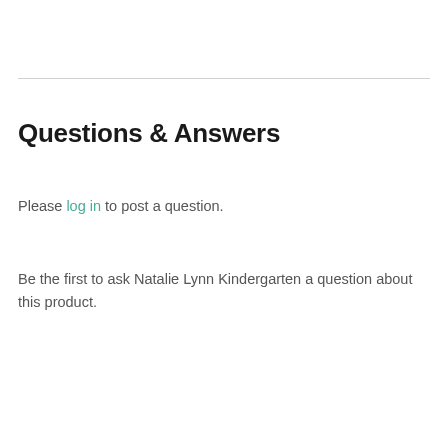Questions & Answers
Please log in to post a question.
Be the first to ask Natalie Lynn Kindergarten a question about this product.